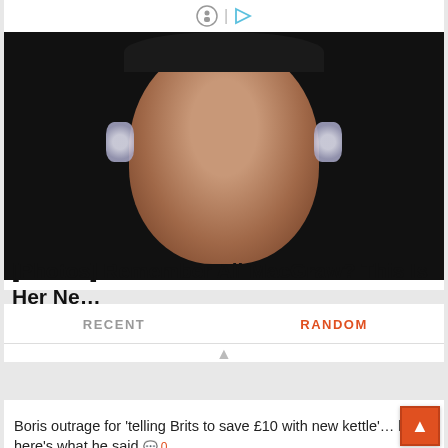[Figure (photo): Portrait photo of a woman with dark hair and large crystal/rhinestone earrings against a dark background]
[Photos] Remember Ali MacGraw? This Is Her Ne…
Sponsored | Fruitiy
RECENT
RANDOM
Boris outrage for 'telling Brits to save £10 with new kettle'… but here's what he said 0
[Figure (photo): Grocery store interior with shoppers in the aisles]
$900 Grocery Allowance For Seniors On Medicare
Sponsored | bestmedicareplans.com